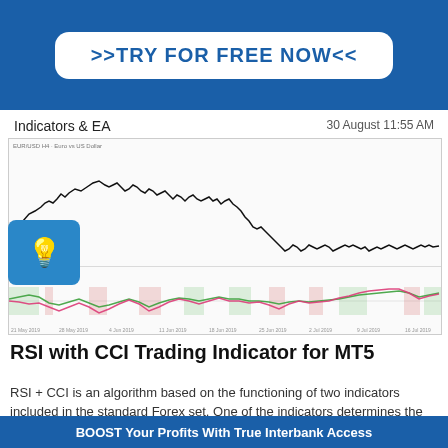>>TRY FOR FREE NOW<<
Indicators & EA
30 August 11:55 AM
[Figure (continuous-plot): EUR/USD price chart on top panel showing a declining trend from left to right, with a RSI+CCI indicator panel below showing oscillating pink and green lines with shaded red and green regions]
RSI with CCI Trading Indicator for MT5
RSI + CCI is an algorithm based on the functioning of two indicators included in the standard Forex set. One of the indicators determines the
BOOST Your Profits With True Interbank Access